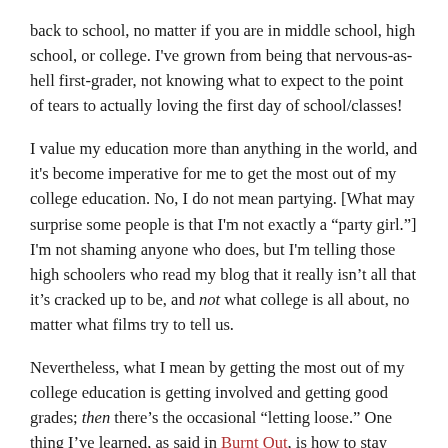back to school, no matter if you are in middle school, high school, or college. I've grown from being that nervous-as-hell first-grader, not knowing what to expect to the point of tears to actually loving the first day of school/classes!
I value my education more than anything in the world, and it's become imperative for me to get the most out of my college education. No, I do not mean partying. [What may surprise some people is that I'm not exactly a "party girl."] I'm not shaming anyone who does, but I'm telling those high schoolers who read my blog that it really isn't all that it's cracked up to be, and not what college is all about, no matter what films try to tell us.
Nevertheless, what I mean by getting the most out of my college education is getting involved and getting good grades; then there's the occasional "letting loose." One thing I've learned, as said in Burnt Out, is how to stay organized. I mentioned in that